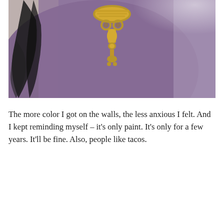[Figure (photo): A close-up photograph showing a decorative golden/brass ornament or pendant against a purple/lavender painted wall background, with what appears to be a dark feather or brush stroke visible on the left side. The ornament has an intricate design with circular rings and detailed metalwork.]
The more color I got on the walls, the less anxious I felt. And I kept reminding myself – it's only paint. It's only for a few years. It'll be fine. Also, people like tacos.